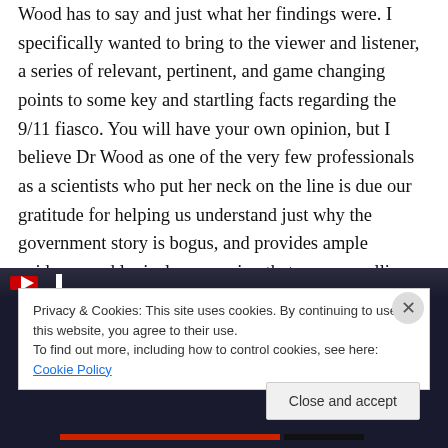Wood has to say and just what her findings were. I specifically wanted to bring to the viewer and listener, a series of relevant, pertinent, and game changing points to some key and startling facts regarding the 9/11 fiasco. You will have your own opinion, but I believe Dr Wood as one of the very few professionals as a scientists who put her neck on the line is due our gratitude for helping us understand just why the government story is bogus, and provides ample evidence and logical progression that are compelling.
[Figure (screenshot): Screenshot of a web page showing a video thumbnail with a dark background, partially obscured by a cookie consent banner.]
Privacy & Cookies: This site uses cookies. By continuing to use this website, you agree to their use.
To find out more, including how to control cookies, see here: Cookie Policy
Close and accept